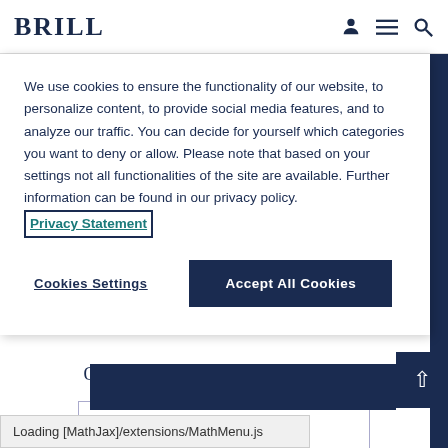BRILL
We use cookies to ensure the functionality of our website, to personalize content, to provide social media features, and to analyze our traffic. You can decide for yourself which categories you want to deny or allow. Please note that based on your settings not all functionalities of the site are available. Further information can be found in our privacy policy. Privacy Statement
Cookies Settings
Accept All Cookies
Online Publication Date:  10 Mar 2021
Download Citation
Get Permissions
Loading [MathJax]/extensions/MathMenu.js